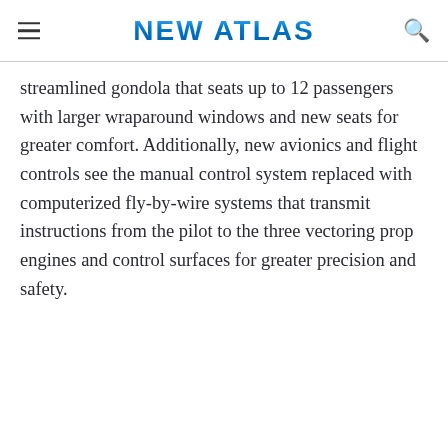NEW ATLAS
streamlined gondola that seats up to 12 passengers with larger wraparound windows and new seats for greater comfort. Additionally, new avionics and flight controls see the manual control system replaced with computerized fly-by-wire systems that transmit instructions from the pilot to the three vectoring prop engines and control surfaces for greater precision and safety.